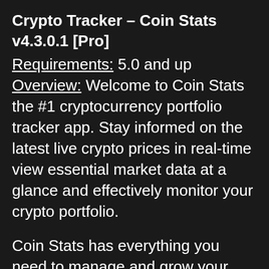Crypto Tracker – Coin Stats v4.3.0.1 [Pro]
Requirements: 5.0 and up
Overview: Welcome to Coin Stats the #1 cryptocurrency portfolio tracker app. Stay informed on the latest live crypto prices in real-time view essential market data at a glance and effectively monitor your crypto portfolio.
Coin Stats has everything you need to manage and grow your crypto portfolio sophisticated enough for professional investors but simple enough to use for enthusiastic first-timers. Measure your performance read crypto news anticipate bitcoin & other crypto value changes and know instantly when crypto prices move with advanced crypto alerts. Coin Stats helps you make better decisions about your